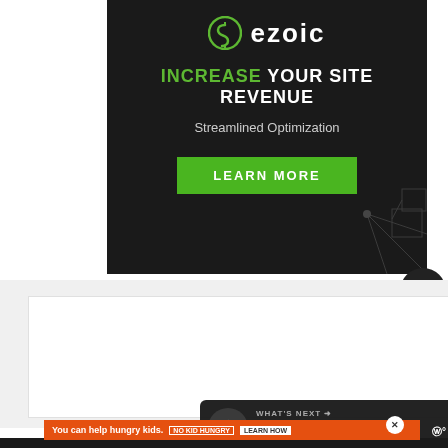[Figure (screenshot): Ezoic advertisement banner with dark background showing logo, headline 'INCREASE YOUR SITE REVENUE', subtext 'Streamlined Optimization', and green 'LEARN MORE' button]
[Figure (screenshot): Heart/like button (dark circle with heart icon), count badge showing '9', and share button (yellow circle with share icon)]
[Figure (screenshot): Gray content area with white card section placeholder]
WHAT'S NEXT → Discord Banning — Full Guide...
[Figure (screenshot): Bottom ad bar: 'You can help hungry kids. No Kid Hungry. LEARN HOW' on orange background]